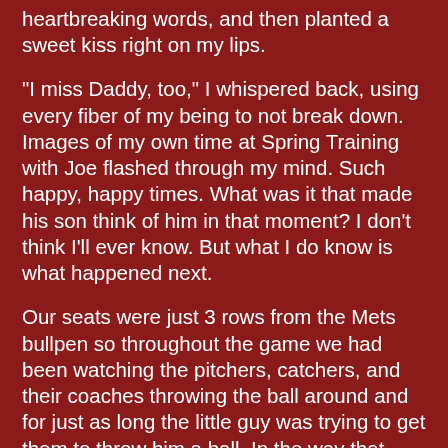heartbreaking words, and then planted a sweet kiss right on my lips.
"I miss Daddy, too," I whispered back, using every fiber of my being to not break down. Images of my own time at Spring Training with Joe flashed through my mind. Such happy, happy times. What was it that made his son think of him in that moment? I don't think I'll ever know. But what I do know is what happened next.
Our seats were just 3 rows from the Mets bullpen so throughout the game we had been watching the pitchers, catchers, and their coaches throwing the ball around and for just as long the little guy was trying to get them to throw him a ball. In the way that only he can he shouted, "Hey guys, I can't reach it!" or "Guys, can I got the ball?" He was relentless. It was cute, but aside from the occasional smile or glance it didn't seem like any of them even noticed him.
Then, not long after the "I miss Daddy" incident, wouldn't you know it Dave Racaniello comes over baseball in hand and stares right up at me and Domani. I couldn't get the tray of food as his big petter from my lap fast enough, and he...